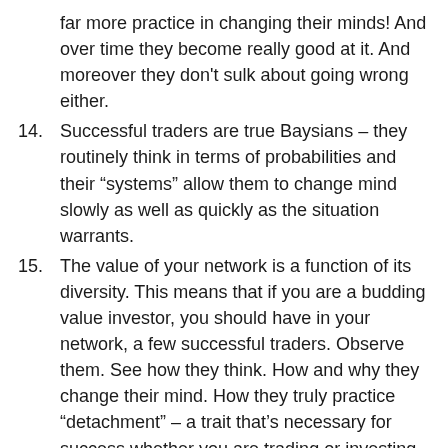far more practice in changing their minds! And over time they become really good at it. And moreover they don't sulk about going wrong either.
14. Successful traders are true Baysians – they routinely think in terms of probabilities and their “systems” allow them to change mind slowly as well as quickly as the situation warrants.
15. The value of your network is a function of its diversity. This means that if you are a budding value investor, you should have in your network, a few successful traders. Observe them. See how they think. How and why they change their mind. How they truly practice “detachment” – a trait that’s necessary for success whether you are trading or investing.
16. This type of fertilisation of, not trading ideas, but methods of thinking, has great utility, in my view.